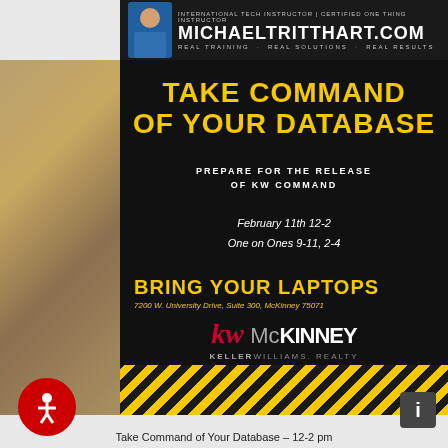[Figure (infographic): Promotional flyer for a KW Command database training event by michaeltritthart.com. Header shows instructor branding. Main content on dark background includes title 'TAKE COMMAND OF YOUR DATABASE', subtitle 'PREPARE FOR THE RELEASE OF KW COMMAND', date info 'February 11th 12-2, One on Ones 9-11, 2-4', call to action 'BRING YOUR LAPTOPS', address '7200 W. University Drive, Suite 300, McKinney 75071', KW McKinney Keller Williams Realty logo, and yellow/black diagonal stripe footer.]
Take Command of Your Database – 12-2 pm